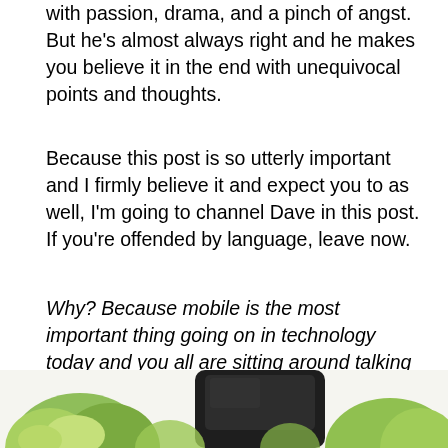with passion, drama, and a pinch of angst. But he's almost always right and he makes you believe it in the end with unequivocal points and thoughts.
Because this post is so utterly important and I firmly believe it and expect you to as well, I'm going to channel Dave in this post. If you're offended by language, leave now.
Why? Because mobile is the most important thing going on in technology today and you all are sitting around talking about social media. That's right, I said it.
[Figure (photo): Bottom portion of a photo showing a dark smartphone/mobile device with green leaves or plants visible in the background/foreground, cropped at the bottom of the page.]